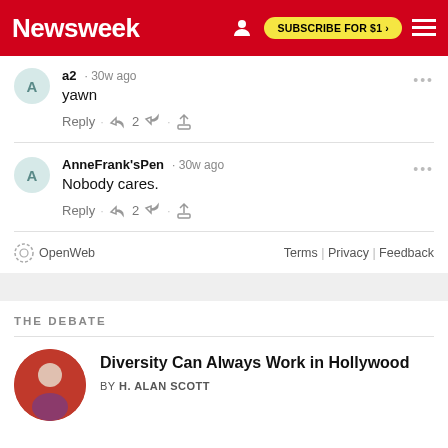Newsweek — SUBSCRIBE FOR $1 >
a2 · 30w ago
yawn
Reply · 👍 2 👎 · ⬆
AnneFrank'sPen · 30w ago
Nobody cares.
Reply · 👍 2 👎 · ⬆
OpenWeb — Terms | Privacy | Feedback
THE DEBATE
Diversity Can Always Work in Hollywood
BY H. ALAN SCOTT